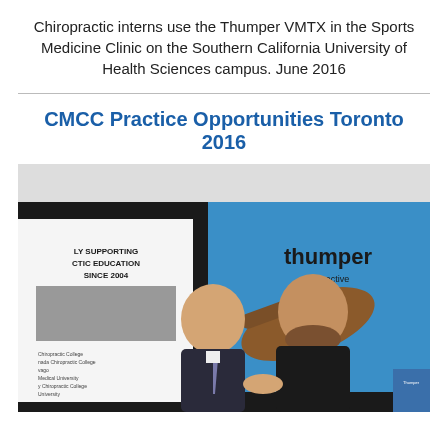Chiropractic interns use the Thumper VMTX in the Sports Medicine Clinic on the Southern California University of Health Sciences campus. June 2016
CMCC Practice Opportunities Toronto 2016
[Figure (photo): Two men shaking hands at a trade show booth. The booth features a large blue Thumper brand banner with the word 'thumper' and 'stay active' visible. On the left is a banner that reads 'proudly supporting chiropractic education since 2004'. One man is wearing a suit and tie, the other is in a dark jacket. The Thumper massager product is visible on the banner.]